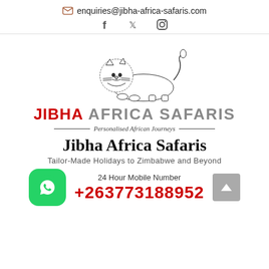enquiries@jibha-africa-safaris.com
[Figure (logo): Social media icons: Facebook, Twitter, Instagram]
[Figure (logo): Jibha Africa Safaris logo: lion illustration with brand name JIBHA AFRICA SAFARIS and tagline Personalised African Journeys]
Jibha Africa Safaris
Tailor-Made Holidays to Zimbabwe and Beyond
24 Hour Mobile Number
+263773188952